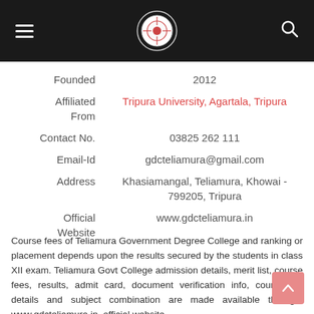Navigation bar with hamburger menu, college logo, and search icon
| Field | Value |
| --- | --- |
| Founded | 2012 |
| Affiliated From | Tripura University, Agartala, Tripura |
| Contact No. | 03825 262 111 |
| Email-Id | gdcteliamura@gmail.com |
| Address | Khasiamangal, Teliamura, Khowai - 799205, Tripura |
| Official Website | www.gdcteliamura.in |
Course fees of Teliamura Government Degree College and ranking or placement depends upon the results secured by the students in class XII exam. Teliamura Govt College admission details, merit list, course fees, results, admit card, document verification info, counselling details and subject combination are made available through: www.gdcteliamura.in, official website.